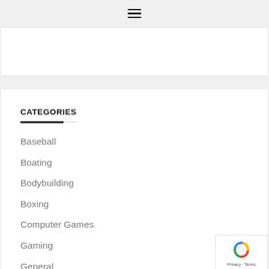☰ (hamburger menu icon)
CATEGORIES
Baseball
Boating
Bodybuilding
Boxing
Computer Games
Gaming
General
Horse Racing